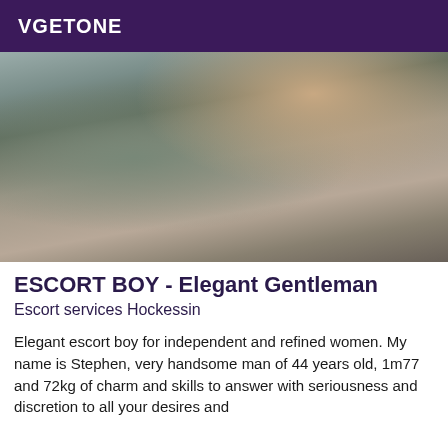VGETONE
[Figure (photo): A man in a grey suit holding a wine glass, photographed from above at an angle, looking toward the camera.]
ESCORT BOY - Elegant Gentleman
Escort services Hockessin
Elegant escort boy for independent and refined women. My name is Stephen, very handsome man of 44 years old, 1m77 and 72kg of charm and skills to answer with seriousness and discretion to all your desires and